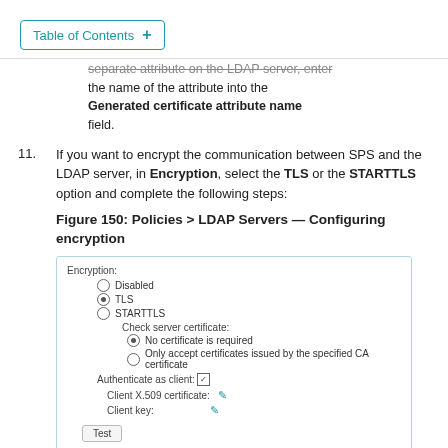Table of Contents +
separate attribute on the LDAP server, enter the name of the attribute into the Generated certificate attribute name field.
11. If you want to encrypt the communication between SPS and the LDAP server, in Encryption, select the TLS or the STARTTLS option and complete the following steps:
Figure 150: Policies > LDAP Servers — Configuring encryption
[Figure (screenshot): Screenshot of encryption configuration UI showing: Encryption label, radio buttons for Disabled, TLS (selected), STARTTLS, Check server certificate section with No certificate is required (selected) and Only accept certificates issued by the specified CA certificate options, Authenticate as client checkbox (checked), Client X.509 certificate field with edit icon, Client key field with edit icon, and a Test button.]
NOTE: